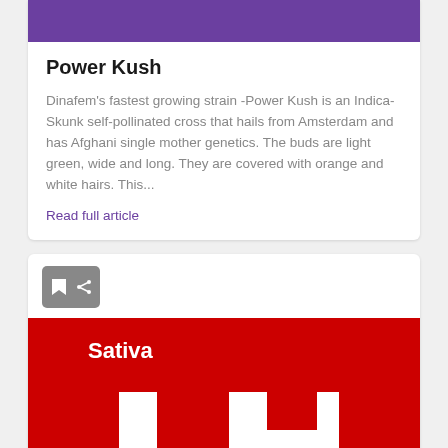[Figure (other): Purple banner image at top of card]
Power Kush
Dinafem's fastest growing strain -Power Kush is an Indica-Skunk self-pollinated cross that hails from Amsterdam and has Afghani single mother genetics. The buds are light green, wide and long. They are covered with orange and white hairs. This...
Read full article
[Figure (other): Bookmark and share icon buttons in dark gray rounded button]
[Figure (other): Red banner with Sativa label and LH logo white letters on red background]